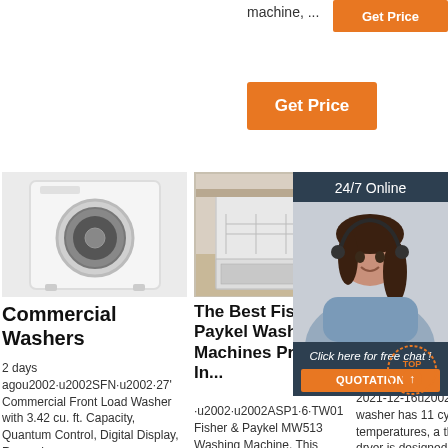machine, ...
[Figure (screenshot): Orange 'Get Price' button (top right, partially visible)]
[Figure (screenshot): Orange 'Get Price' button (center)]
[Figure (photo): White front-load washing machine]
[Figure (photo): Open dishwasher in kitchen - Fisher & Paykel]
[Figure (photo): Partial image of washer/dryer product]
[Figure (screenshot): 24/7 Online panel with customer service representative photo and 'Click here for free chat!' button and QUOTATION button]
Commercial Washers
2 days agou2002·u2002SFN·u2002·27' Commercial Front Load Washer with 3.42 cu. ft. Capacity, Quantum Control, Digital Display, Rugged
The Best Fisher & Paykel Washing Machines Prices In...
u2002·u2002ASP1·6·TW01 Fisher & Paykel MW513 Washing Machine. This washing machine has a front opening. With a capacity of
The Best Washer Dryer Deals For December 2021
2021-12-16u2002·u2002The washer has 11 cycles and six temperatures, a the gas-powered dryer is designed to